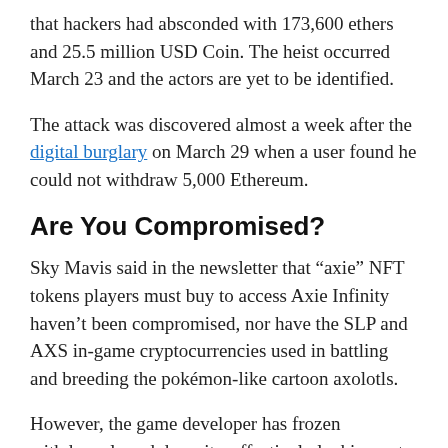that hackers had absconded with 173,600 ethers and 25.5 million USD Coin. The heist occurred March 23 and the actors are yet to be identified.
The attack was discovered almost a week after the digital burglary on March 29 when a user found he could not withdraw 5,000 Ethereum.
Are You Compromised?
Sky Mavis said in the newsletter that “axie” NFT tokens players must buy to access Axie Infinity haven’t been compromised, nor have the SLP and AXS in-game cryptocurrencies used in battling and breeding the pokémon-like cartoon axolotls.
However, the game developer has frozen withdrawals and deposits, effectively locking out new players from the game, and leaving current players concerned for